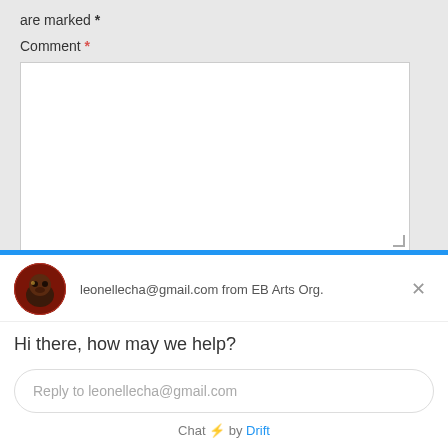are marked *
Comment *
Name *
[Figure (screenshot): Chat widget from Drift showing user leonellecha@gmail.com from EB Arts Org. with greeting 'Hi there, how may we help?' and reply input field.]
leonellecha@gmail.com from EB Arts Org.
Hi there, how may we help?
Reply to leonellecha@gmail.com
Chat ⚡ by Drift